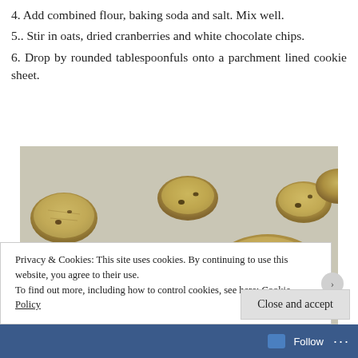4. Add combined flour, baking soda and salt. Mix well.
5.. Stir in oats, dried cranberries and white chocolate chips.
6. Drop by rounded tablespoonfuls onto a parchment lined cookie sheet.
[Figure (photo): Oatmeal cranberry white chocolate chip cookies on a parchment-lined baking sheet, viewed from a low angle. Multiple mounded cookie dough balls are visible on a light gray parchment paper.]
Privacy & Cookies: This site uses cookies. By continuing to use this website, you agree to their use.
To find out more, including how to control cookies, see here: Cookie Policy
Close and accept
Follow ...